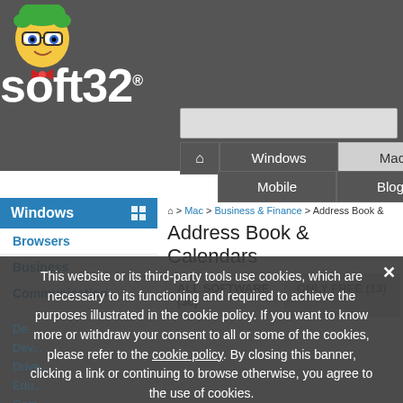[Figure (logo): Soft32 website header with mascot character (cartoon figure with green hair and glasses) and 'soft32' logo text in white on dark gray background]
[Figure (screenshot): Navigation bar with Home, Windows, Mac tabs on top row and Mobile, Blog tabs on second row. Mac tab is highlighted in light gray.]
⌂ > Mac > Business & Finance > Address Book &
Address Book & Calendars
ALL SOFTWARE (30)   ONLY FREE (13)
Windows
Browsers
Business
Communication
This website or its third-party tools use cookies, which are necessary to its functioning and required to achieve the purposes illustrated in the cookie policy. If you want to know more or withdraw your consent to all or some of the cookies, please refer to the cookie policy. By closing this banner, clicking a link or continuing to browse otherwise, you agree to the use of cookies.